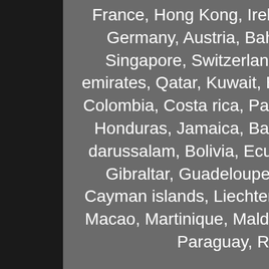France, Hong Kong, Ireland, Netherlands, Poland, Spain, Italy, Germany, Austria, Bahamas, Israel, Mexico, New Zealand, Singapore, Switzerland, Norway, Saudi arabia, United arab emirates, Qatar, Kuwait, Bahrain, Croatia, Malaysia, Brazil, Chile, Colombia, Costa rica, Panama, Trinidad and tobago, Guatemala, Honduras, Jamaica, Barbados, Bangladesh, Bermuda, Brunei darussalam, Bolivia, Ecuador, Egypt, French guiana, Guernsey, Gibraltar, Guadeloupe, Iceland, Jersey, Jordan, Cambodia, Cayman islands, Liechtenstein, Sri lanka, Luxembourg, Monaco, Macao, Martinique, Maldives, Nicaragua, Oman, Peru, Pakistan, Paraguay, Reunion, Viet nam, Uruguay.
Season: 2020 Graded: No Player/Athlete: Aaron Judge Grade: Ungraded Type: Sports Trading Card Features: Short Print Manufacturer: Topps Professional Grader: Not Professionally Graded Sport: Baseball